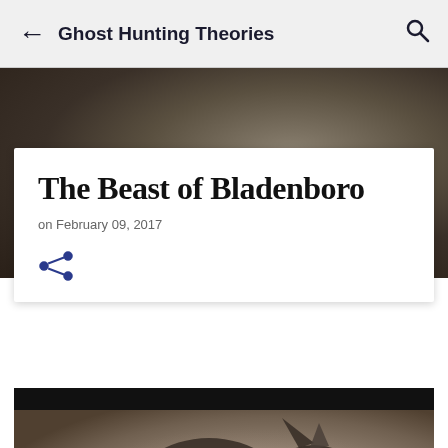Ghost Hunting Theories
The Beast of Bladenboro
on February 09, 2017
[Figure (illustration): Share icon (social sharing button) in blue/dark blue color]
[Figure (photo): Dark fantasy creature/beast illustration resembling a werewolf or large feral animal, crouching with mouth open, in sepia/grey tones]